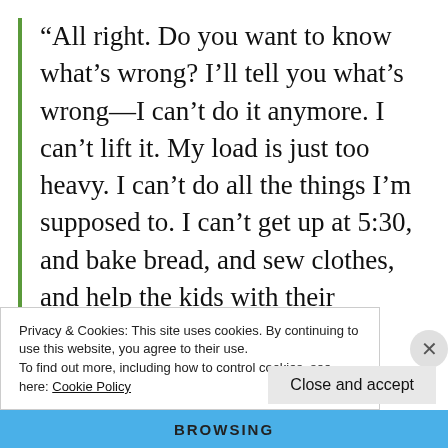“All right. Do you want to know what’s wrong? I’ll tell you what’s wrong—I can’t do it anymore. I can’t lift it. My load is just too heavy. I can’t do all the things I’m supposed to. I can’t get up at 5:30, and bake bread, and sew clothes, and help the kids with their homework, and do my own homework
Privacy & Cookies: This site uses cookies. By continuing to use this website, you agree to their use.
To find out more, including how to control cookies, see here: Cookie Policy
Close and accept
BROWSING